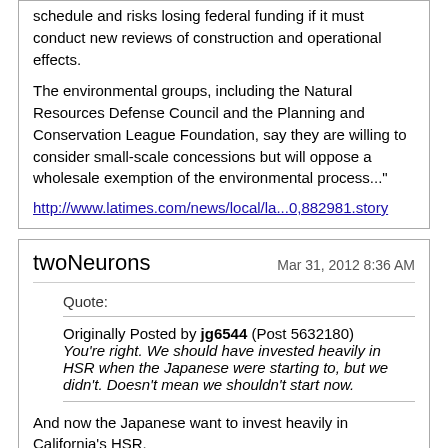schedule and risks losing federal funding if it must conduct new reviews of construction and operational effects.
The environmental groups, including the Natural Resources Defense Council and the Planning and Conservation League Foundation, say they are willing to consider small-scale concessions but will oppose a wholesale exemption of the environmental process..."
http://www.latimes.com/news/local/la...0,882981.story
twoNeurons
Mar 31, 2012 8:36 AM
Quote:
Originally Posted by jg6544 (Post 5632180)
You're right. We should have invested heavily in HSR when the Japanese were starting to, but we didn't. Doesn't mean we shouldn't start now.
And now the Japanese want to invest heavily in California's HSR.
Population in the 1960s wasn't as dense as it is now. Lots of people moved to California in the past 50 years. What SHOULD have been done was secure the ROWs. I'm not sure HSR would've been successful in 1960s and 1970s America.